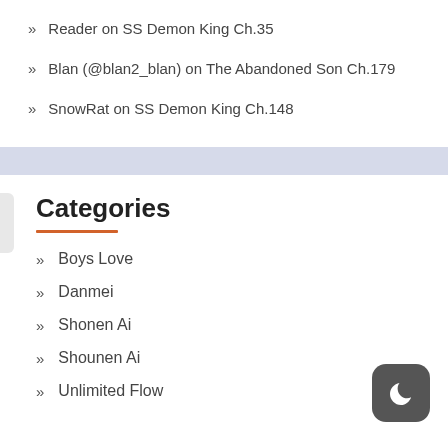Reader on SS Demon King Ch.35
Blan (@blan2_blan) on The Abandoned Son Ch.179
SnowRat on SS Demon King Ch.148
Categories
Boys Love
Danmei
Shonen Ai
Shounen Ai
Unlimited Flow